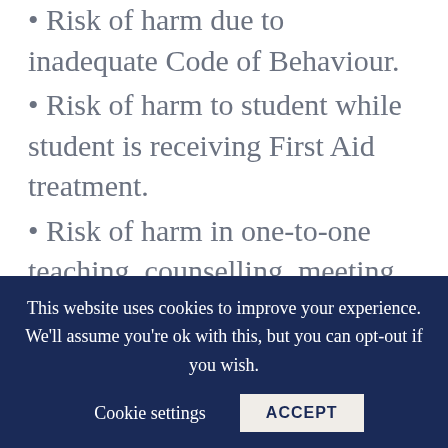• Risk of harm due to inadequate Code of Behaviour.
• Risk of harm to student while student is receiving First Aid treatment.
• Risk of harm in one-to-one teaching, counselling, meeting, coaching situation.
• Risk of harm caused by member of school personnel communicating with pupils in an inappropriate manner via
This website uses cookies to improve your experience. We'll assume you're ok with this, but you can opt-out if you wish.
Cookie settings   ACCEPT